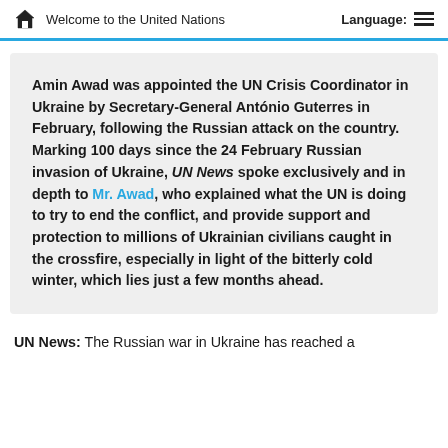Welcome to the United Nations   Language:
Amin Awad was appointed the UN Crisis Coordinator in Ukraine by Secretary-General António Guterres in February, following the Russian attack on the country. Marking 100 days since the 24 February Russian invasion of Ukraine, UN News spoke exclusively and in depth to Mr. Awad, who explained what the UN is doing to try to end the conflict, and provide support and protection to millions of Ukrainian civilians caught in the crossfire, especially in light of the bitterly cold winter, which lies just a few months ahead.
UN News: The Russian war in Ukraine has reached a